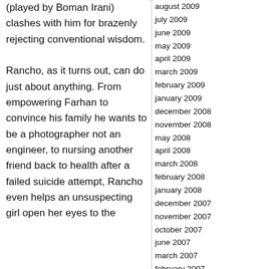(played by Boman Irani) clashes with him for brazenly rejecting conventional wisdom.

Rancho, as it turns out, can do just about anything. From empowering Farhan to convince his family he wants to be a photographer not an engineer, to nursing another friend back to health after a failed suicide attempt, Rancho even helps an unsuspecting girl open her eyes to the
august 2009
july 2009
june 2009
may 2009
april 2009
march 2009
february 2009
january 2009
december 2008
november 2008
may 2008
april 2008
march 2008
february 2008
january 2008
december 2007
november 2007
october 2007
june 2007
march 2007
february 2007
january 2007
december 2006
november 2006
june 2003
meta:
log in
rss
comments rss
valid xhtml
xfn